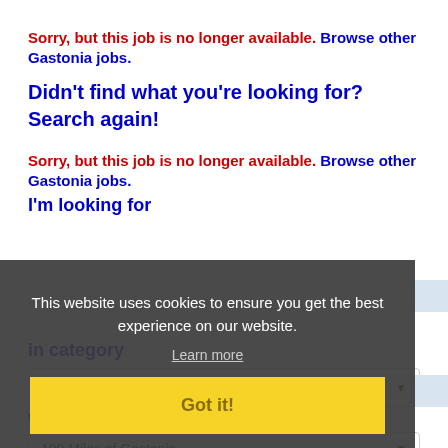Sorry, but this job is no longer available. Browse other Gastonia jobs.
Didn't find what you're looking for? Search again!
Sorry, but this job is no longer available. Browse other Gastonia jobs.
I'm looking for
This website uses cookies to ensure you get the best experience on our website.
Learn more
Got it!
in category
ALL
within
100 Miles of Gastonia